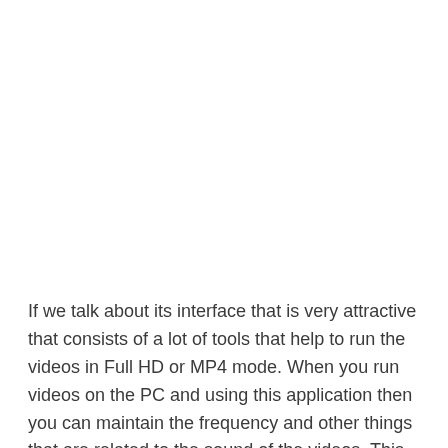If we talk about its interface that is very attractive that consists of a lot of tools that help to run the videos in Full HD or MP4 mode. When you run videos on the PC and using this application then you can maintain the frequency and other things that are related to the sound of the videos. This application is also using for the editing process every type of video can be edited by it. Some people in the world use it as an editor so if you are working in the professional field in which you are making